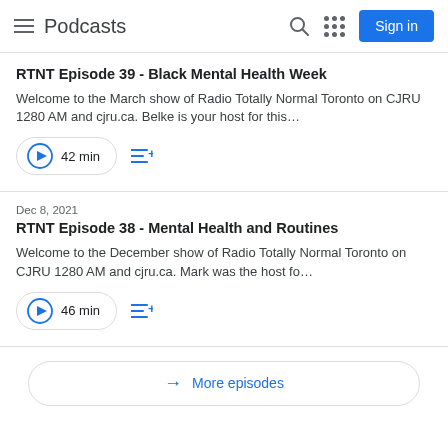Podcasts
RTNT Episode 39 - Black Mental Health Week
Welcome to the March show of Radio Totally Normal Toronto on CJRU 1280 AM and cjru.ca. Belke is your host for this…
42 min
Dec 8, 2021
RTNT Episode 38 - Mental Health and Routines
Welcome to the December show of Radio Totally Normal Toronto on CJRU 1280 AM and cjru.ca. Mark was the host fo…
46 min
More episodes